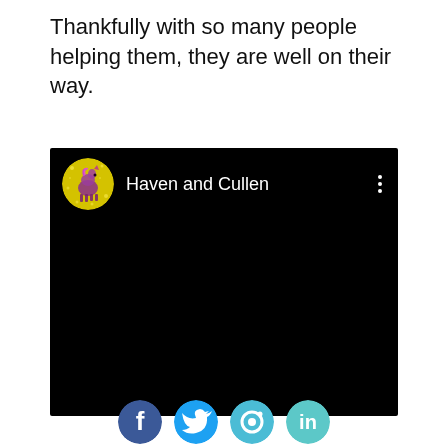Thankfully with so many people helping them, they are well on their way.
[Figure (screenshot): A black video player embed showing a YouTube channel named 'Haven and Cullen' with a circular avatar (yellow glitter background with a horse silhouette in purple/pink) and three vertical dots menu icon in the upper right corner.]
[Figure (infographic): Row of four partially visible social media icon circles (Facebook, Twitter/X, and others) at the bottom of the page.]